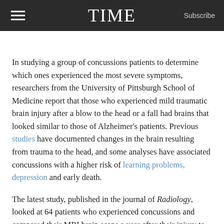TIME  Subscribe
In studying a group of concussions patients to determine which ones experienced the most severe symptoms, researchers from the University of Pittsburgh School of Medicine report that those who experienced mild traumatic brain injury after a blow to the head or a fall had brains that looked similar to those of Alzheimer’s patients. Previous studies have documented changes in the brain resulting from trauma to the head, and some analyses have associated concussions with a higher risk of learning problems, depression and early death.
The latest study, published in the journal of Radiology, looked at 64 patients who experienced concussions and compared their MRI brain scans a year after their injury to those of 15 healthy patients over the same time period. The images picked up white matter,